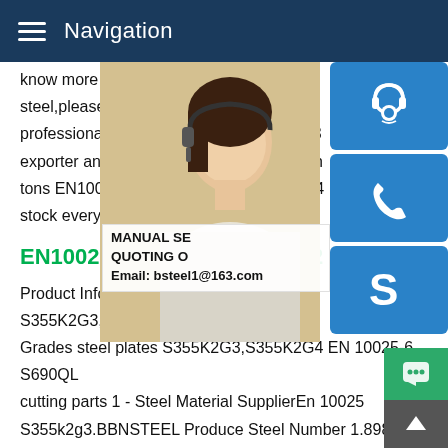Navigation
know more information about EN10025(93 steel,please contact our sales team.Bebor professional EN10025(93) S 335K2G3,S 3 exporter and a steel Stockist in china.We h tons EN10025(93) S 335K2G3,S 335K2G4 stock every month.
[Figure (photo): Woman wearing headset, customer service representative photo]
[Figure (infographic): Blue side buttons: headset/contact icon, phone icon, Skype icon]
MANUAL SE QUOTING O Email: bsteel1@163.com
EN10025 steel plates S355K2
Product Information.EN10025 steel plates S355K2G3,S355K2G4,S355J2G3,S355J2 Grades steel plates S355K2G3,S355K2G4 EN 10025-6 S690QL cutting parts 1 - Steel Material SupplierEn 10025 S355k2g3.BBNSTEEL Produce Steel Number 1.8988 EN10025:6:2004 S690QL1 has a minimum yield strength of 690Mpa in quenched and The causes of multiple sclerosis Use Prodnicone tempered conditions it has quite tough with minim